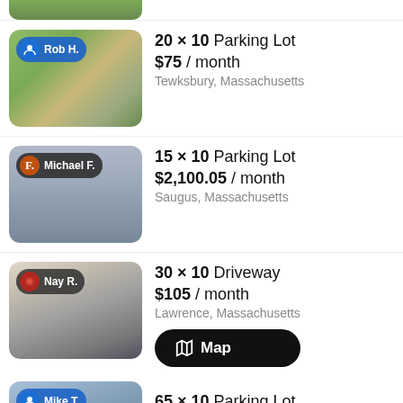[Figure (photo): Cropped top portion of aerial/satellite photo listing]
[Figure (photo): Aerial satellite view of parking lot, host badge Rob H.]
20 × 10 Parking Lot
$75 / month
Tewksbury, Massachusetts
[Figure (photo): Ground-level photo of parking lot, host badge Michael F.]
15 × 10 Parking Lot
$2,100.05 / month
Saugus, Massachusetts
[Figure (photo): Photo of driveway between houses, host badge Nay R.]
30 × 10 Driveway
$105 / month
Lawrence, Massachusetts
[Figure (photo): Partially visible photo of parking lot, host badge Mike T.]
65 × 10 Parking Lot